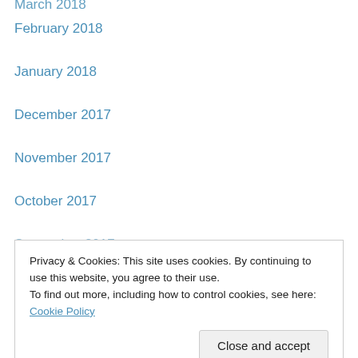March 2018
February 2018
January 2018
December 2017
November 2017
October 2017
September 2017
August 2017
July 2017
June 2017
May 2017
April 2017
March 2017
February 2017
Privacy & Cookies: This site uses cookies. By continuing to use this website, you agree to their use. To find out more, including how to control cookies, see here: Cookie Policy
August 2016